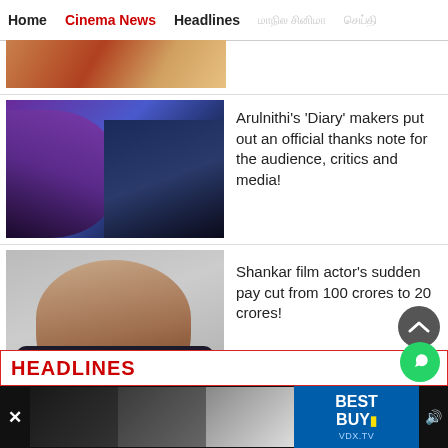Home | Cinema News | Headlines
[Figure (photo): Partial image strip at top showing a scene from a film]
[Figure (photo): Movie promotional image for 'Diary' featuring Arulnithi in dark purple/blue tones]
Arulnithi's 'Diary' makers put out an official thanks note for the audience, critics and media!
[Figure (photo): Photo of Shankar film director/actor in black shirt against light background]
Shankar film actor's sudden pay cut from 100 crores to 20 crores!
HEADLINES
[Figure (screenshot): Bottom advertisement bar with Best Buy ad and VDX.TV branding]